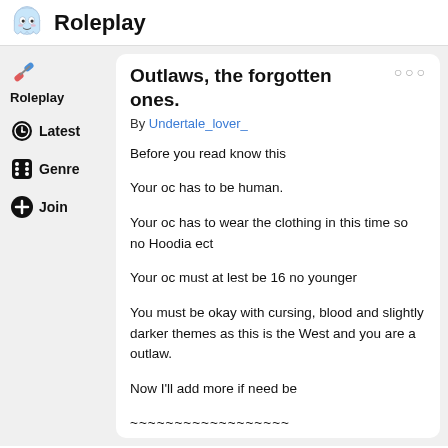Roleplay
Outlaws, the forgotten ones.
By Undertale_lover_
Before you read know this
Your oc has to be human.
Your oc has to wear the clothing in this time so no Hoodia ect
Your oc must at lest be 16 no younger
You must be okay with cursing, blood and slightly darker themes as this is the West and you are a outlaw.
Now I'll add more if need be
~~~~~~~~~~~~~~~~~~
Outlaws, that is what you are a